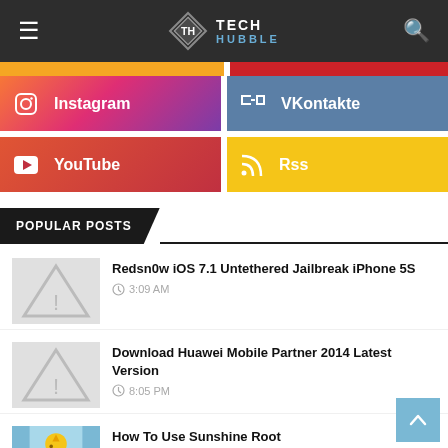Tech Hubble
[Figure (screenshot): Instagram and VKontakte social media follow buttons]
[Figure (screenshot): YouTube and RSS social media follow buttons]
POPULAR POSTS
Redsn0w iOS 7.1 Untethered Jailbreak iPhone 5S — 3:09 AM
Download Huawei Mobile Partner 2014 Latest Version — 8:05 PM
How To Use Sunshine Root — 11:15 PM